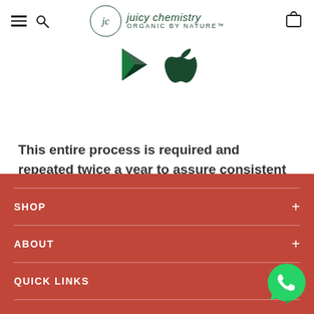Juicy Chemistry — organic by nature — navigation header with hamburger menu, search, logo, and cart icon
[Figure (logo): Google Play Store and Apple App Store icons side by side]
This entire process is required and repeated twice a year to assure consistent compliance!
SHOP + | ABOUT + | QUICK LINKS +